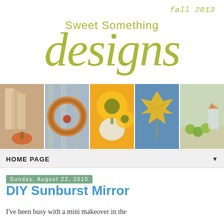fall 2013 Sweet Something designs
[Figure (photo): A horizontal strip of five autumn-themed photos: 1) silverware in glass vases with pumpkins, 2) an orange fall wreath on wood fence, 3) white pumpkins with yellow sunflowers, 4) a large yellow maple leaf on blue surface, 5) green apples and flowers on a table.]
HOME PAGE
Sunday, August 22, 2010
DIY Sunburst Mirror
I've been busy with a mini makeover in the